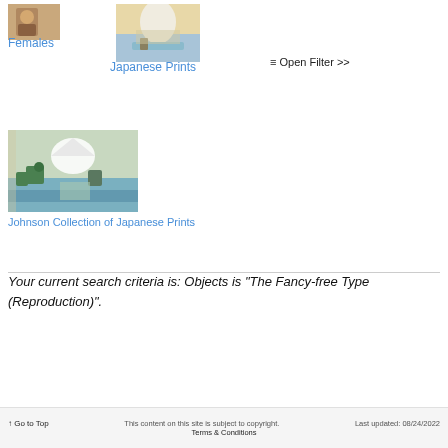[Figure (photo): Small thumbnail of a females artwork/figure]
Females
[Figure (photo): Thumbnail of a Japanese print showing a waterfall and mountains]
Japanese Prints
≡ Open Filter >>
[Figure (photo): Thumbnail of a Japanese woodblock print showing Mount Fuji with travelers]
Johnson Collection of Japanese Prints
Your current search criteria is: Objects is "The Fancy-free Type (Reproduction)".
↑ Go to Top   This content on this site is subject to copyright.   Last updated: 08/24/2022   Terms & Conditions